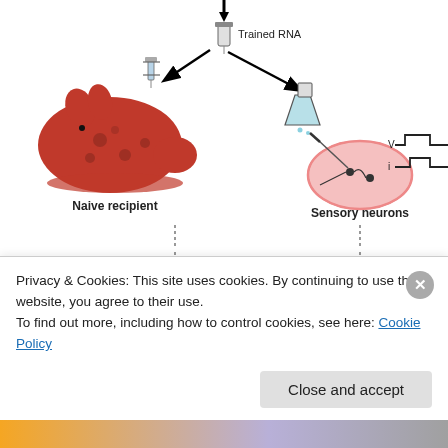[Figure (illustration): Scientific diagram showing RNA transfer experiment with Aplysia (sea slug). Top section: A naive recipient sea slug with injection syringe, arrow pointing to 'Trained RNA' label near a test tube/vial, arrows pointing to a flask and a petri dish with sensory neurons shown with electrophysiology traces (V and i traces). Labels: 'Naive recipient', 'Sensory neurons'. Bottom section: After 24h, siphon touch stimulus (+30s) applied to naive recipient, and 24h after RNA injection to sensory neurons, showing enhanced electrophysiology traces (red enhanced voltage trace V and current trace i).]
Privacy & Cookies: This site uses cookies. By continuing to use this website, you agree to their use.
To find out more, including how to control cookies, see here: Cookie Policy